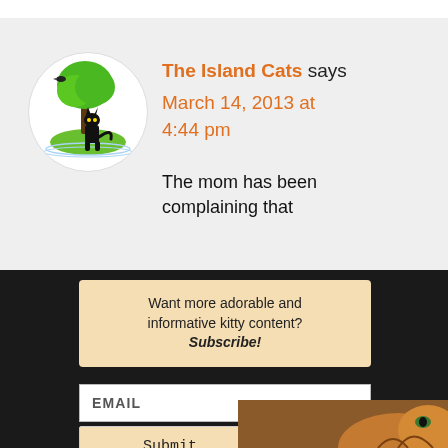The Island Cats says
March 14, 2013 at 4:44 pm

The mom has been complaining that
[Figure (illustration): Circular avatar showing a black cat sitting near a green tree on a small island, with a bird in the tree]
Want more adorable and informative kitty content? Subscribe!
EMAIL
Submit
[Figure (photo): Photo of a tabby cat with green eyes looking up, partially visible at the bottom right corner]